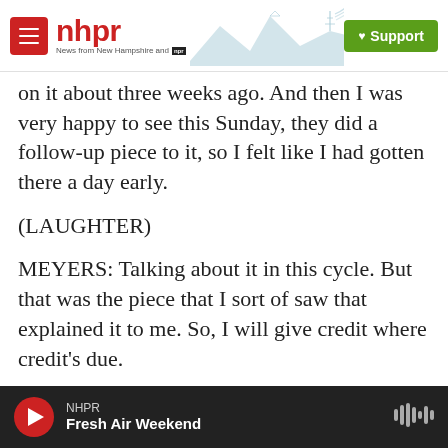nhpr — News from New Hampshire and NPR | Support
on it about three weeks ago. And then I was very happy to see this Sunday, they did a follow-up piece to it, so I felt like I had gotten there a day early.
(LAUGHTER)
MEYERS: Talking about it in this cycle. But that was the piece that I sort of saw that explained it to me. So, I will give credit where credit's due.
GROSS: So what's the process like of writing for "Weekend Update"? Like how much time do you have to follow the news? What are your main
NHPR — Fresh Air Weekend